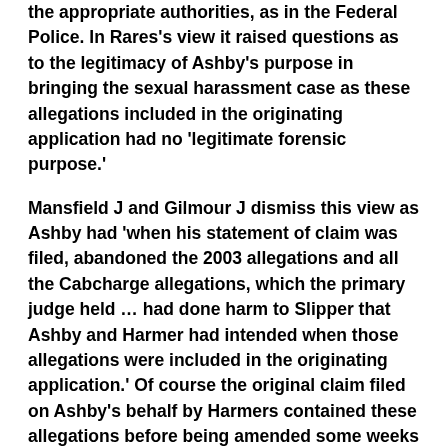the appropriate authorities, as in the Federal Police. In Rares's view it raised questions as to the legitimacy of Ashby's purpose in bringing the sexual harassment case as these allegations included in the originating application had no 'legitimate forensic purpose.'
Mansfield J and Gilmour J dismiss this view as Ashby had 'when his statement of claim was filed, abandoned the 2003 allegations and all the Cabcharge allegations, which the primary judge held … had done harm to Slipper that Ashby and Harmer had intended when those allegations were included in the originating application.' Of course the original claim filed on Ashby's behalf by Harmers contained these allegations before being amended some weeks later deleting the 2003 and Cabcharge allegations.
It may seem disingenuous to suggest that the miles of